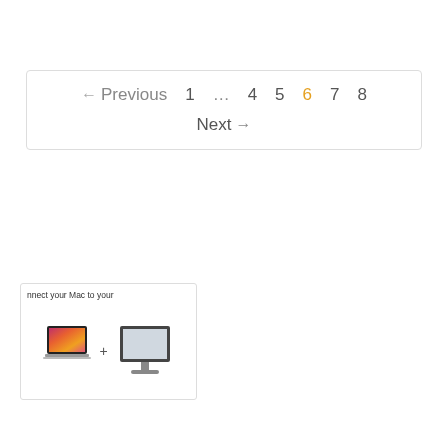← Previous  1  ...  4  5  6  7  8  Next →
[Figure (screenshot): Thumbnail screenshot showing 'nnect your Mac to your' text with a MacBook image plus a monitor image]